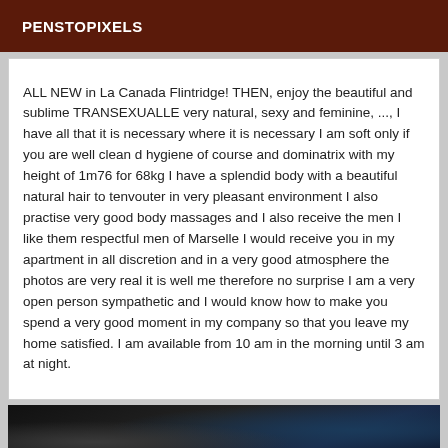PENSTOPIXELS
ALL NEW in La Canada Flintridge! THEN, enjoy the beautiful and sublime TRANSEXUALLE very natural, sexy and feminine, ..., I have all that it is necessary where it is necessary I am soft only if you are well clean d hygiene of course and dominatrix with my height of 1m76 for 68kg I have a splendid body with a beautiful natural hair to tenvouter in very pleasant environment I also practise very good body massages and I also receive the men I like them respectful men of Marselle I would receive you in my apartment in all discretion and in a very good atmosphere the photos are very real it is well me therefore no surprise I am a very open person sympathetic and I would know how to make you spend a very good moment in my company so that you leave my home satisfied. I am available from 10 am in the morning until 3 am at night.
[Figure (photo): Dark photo strip showing partial view of a person]